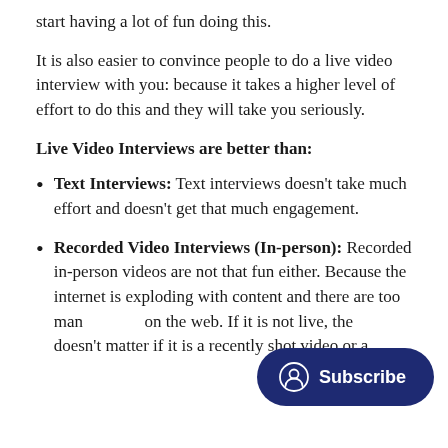start having a lot of fun doing this.
It is also easier to convince people to do a live video interview with you: because it takes a higher level of effort to do this and they will take you seriously.
Live Video Interviews are better than:
Text Interviews: Text interviews doesn't take much effort and doesn't get that much engagement.
Recorded Video Interviews (In-person): Recorded in-person videos are not that fun either. Because the internet is exploding with content and there are too many videos on the web. If it is not live, then it doesn't matter if it is a recently shot video or a